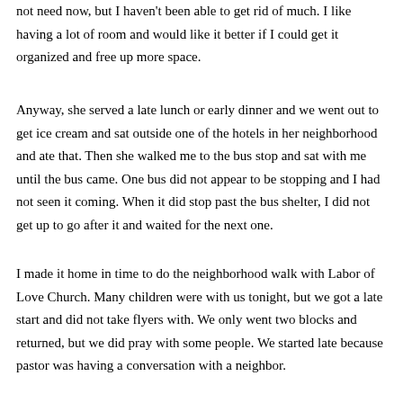not need now, but I haven't been able to get rid of much. I like having a lot of room and would like it better if I could get it organized and free up more space.
Anyway, she served a late lunch or early dinner and we went out to get ice cream and sat outside one of the hotels in her neighborhood and ate that. Then she walked me to the bus stop and sat with me until the bus came. One bus did not appear to be stopping and I had not seen it coming. When it did stop past the bus shelter, I did not get up to go after it and waited for the next one.
I made it home in time to do the neighborhood walk with Labor of Love Church. Many children were with us tonight, but we got a late start and did not take flyers with. We only went two blocks and returned, but we did pray with some people. We started late because pastor was having a conversation with a neighbor.